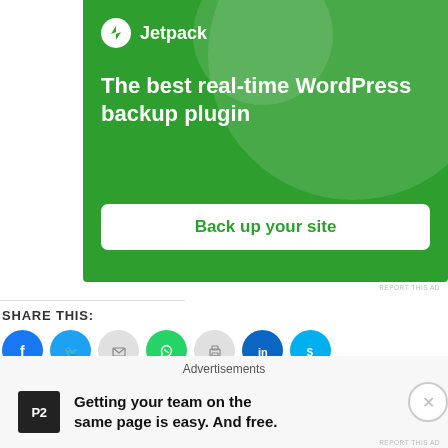[Figure (screenshot): Jetpack advertisement banner with green background. Shows Jetpack logo and text: 'The best real-time WordPress backup plugin' with a 'Back up your site' button.]
REPORT THIS AD
SHARE THIS:
[Figure (infographic): Row of social share icon buttons: Facebook (blue), Twitter (blue), Email (grey), WhatsApp (green), Print (grey), LinkedIn (blue), Skype (blue)]
[Figure (infographic): Like button and row of blogger avatar photos]
120 bloggers like this
Advertisements
[Figure (screenshot): P2 advertisement: P2 logo (black square with P2 text) and message 'Getting your team on the same page is easy. And free.']
REPORT THIS AD